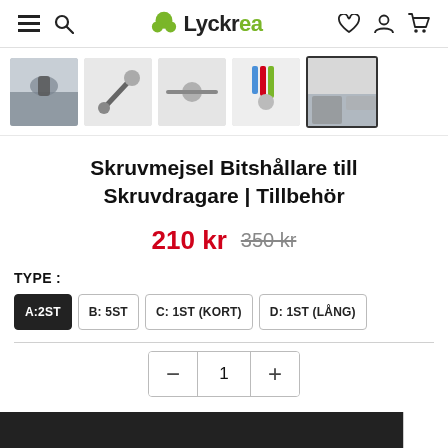Lyckrea – navigation bar with menu, search, logo, heart, account, cart
[Figure (photo): Row of 5 product thumbnail images showing screwdriver bits and accessories]
Skruvmejsel Bitshållare till Skruvdragare | Tillbehör
210 kr  350 kr (strikethrough)
TYPE :
A:2ST (selected)
B: 5ST
C: 1ST (KORT)
D: 1ST (LÅNG)
Quantity selector: − 1 +
Add to cart bar (partial, cut off at bottom)